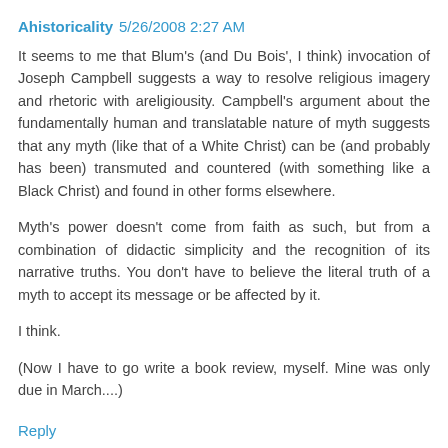Ahistoricality  5/26/2008 2:27 AM
It seems to me that Blum's (and Du Bois', I think) invocation of Joseph Campbell suggests a way to resolve religious imagery and rhetoric with areligiousity. Campbell's argument about the fundamentally human and translatable nature of myth suggests that any myth (like that of a White Christ) can be (and probably has been) transmuted and countered (with something like a Black Christ) and found in other forms elsewhere.
Myth's power doesn't come from faith as such, but from a combination of didactic simplicity and the recognition of its narrative truths. You don't have to believe the literal truth of a myth to accept its message or be affected by it.
I think.
(Now I have to go write a book review, myself. Mine was only due in March....)
Reply